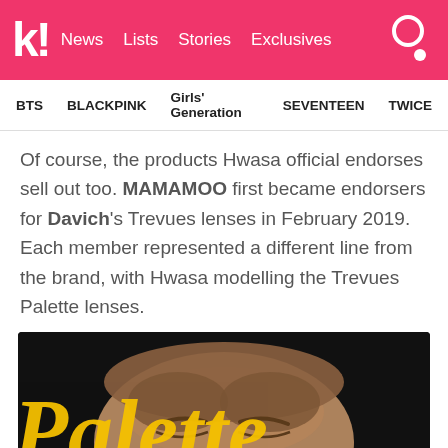k! News Lists Stories Exclusives
BTS  BLACKPINK  Girls' Generation  SEVENTEEN  TWICE
Of course, the products Hwasa official endorses sell out too. MAMAMOO first became endorsers for Davich's Trevues lenses in February 2019. Each member represented a different line from the brand, with Hwasa modelling the Trevues Palette lenses.
[Figure (photo): Advertisement photo with 'Palette' text in yellow script on a dark background, featuring a close-up of a person's face, with TREVUES brand logo in the bottom right.]